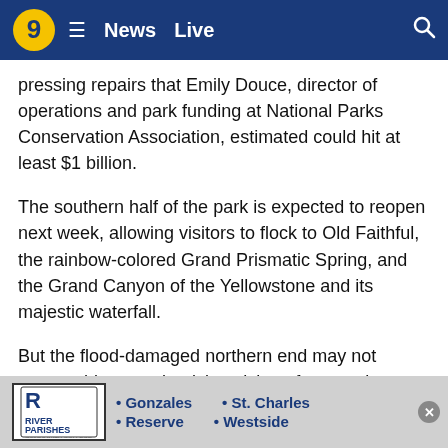9 News Live
pressing repairs that Emily Douce, director of operations and park funding at National Parks Conservation Association, estimated could hit at least $1 billion.
The southern half of the park is expected to reopen next week, allowing visitors to flock to Old Faithful, the rainbow-colored Grand Prismatic Spring, and the Grand Canyon of the Yellowstone and its majestic waterfall.
But the flood-damaged northern end may not reopen this year, depriving visitors from seeing Tower Fall and Lamar Valley, one of the best places in the world to see wolves and grizzly bears. Some days during the high season, an animal sighting can lead to thousands of people parked on the side of the road hoping to catch a glimpse.
[Figure (infographic): River Parishes Community College advertisement banner with locations: Gonzales, St. Charles, Reserve, Westside]